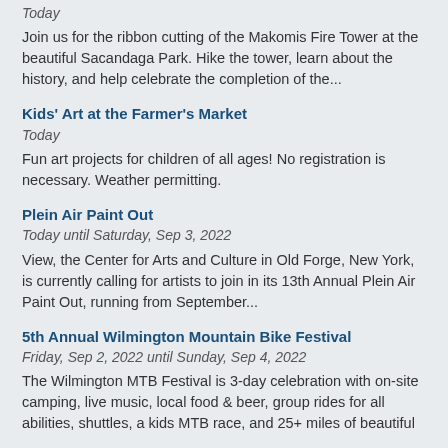Today
Join us for the ribbon cutting of the Makomis Fire Tower at the beautiful Sacandaga Park. Hike the tower, learn about the history, and help celebrate the completion of the...
Kids' Art at the Farmer's Market
Today
Fun art projects for children of all ages! No registration is necessary. Weather permitting.
Plein Air Paint Out
Today until Saturday, Sep 3, 2022
View, the Center for Arts and Culture in Old Forge, New York, is currently calling for artists to join in its 13th Annual Plein Air Paint Out, running from September...
5th Annual Wilmington Mountain Bike Festival
Friday, Sep 2, 2022 until Sunday, Sep 4, 2022
The Wilmington MTB Festival is 3-day celebration with on-site camping, live music, local food & beer, group rides for all abilities, shuttles, a kids MTB race, and 25+ miles of beautiful